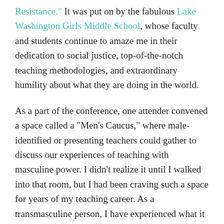Resistance." It was put on by the fabulous Lake Washington Girls Middle School, whose faculty and students continue to amaze me in their dedication to social justice, top-of-the-notch teaching methodologies, and extraordinary humility about what they are doing in the world.
As a part of the conference, one attender convened a space called a “Men’s Caucus,” where male-identified or presenting teachers could gather to discuss our experiences of teaching with masculine power.  I didn’t realize it until I walked into that room, but I had been craving such a space for years of my teaching career.  As a transmasculine person, I have experienced what it is like to be a teacher that students perceive as a woman and as a man, and I know the pain of being on the other